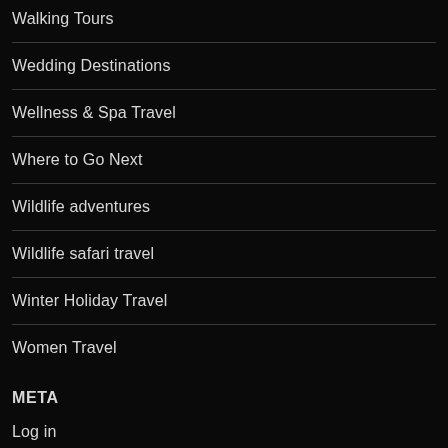Walking Tours
Wedding Destinations
Wellness & Spa Travel
Where to Go Next
Wildlife adventures
Wildlife safari travel
Winter Holiday Travel
Women Travel
META
Log in
Entries feed